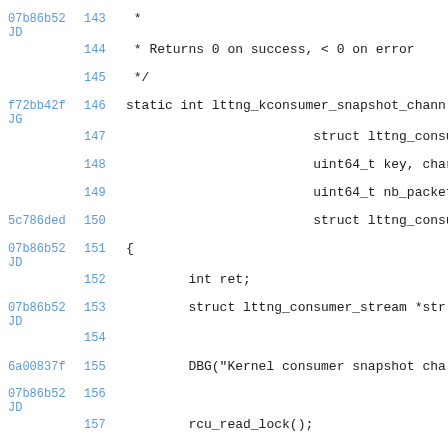[Figure (screenshot): Source code diff view showing lines 143-157 of a C source file with git commit hashes, line numbers, and code content including a function lttng_kconsumer_snapshot_channel with local variables and DBG call.]